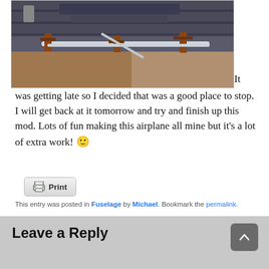[Figure (photo): Photo of metal rods or tubes being held together with clamps on a workbench, workshop setting with shelving visible in background.]
It was getting late so I decided that was a good place to stop. I will get back at it tomorrow and try and finish up this mod. Lots of fun making this airplane all mine but it's a lot of extra work! 🙂
[Figure (other): Print button with printer icon]
This entry was posted in Fuselage by Michael. Bookmark the permalink.
Leave a Reply